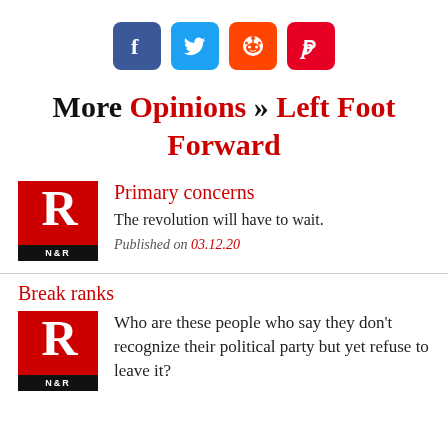[Figure (infographic): Four social media share icons: Facebook (blue), Twitter (light blue), Reddit (orange), Pinterest (red)]
More Opinions » Left Foot Forward
[Figure (logo): N&R logo — red square with white R letterform and black N&R bar at bottom]
Primary concerns
The revolution will have to wait.
Published on 03.12.20
Break ranks
[Figure (logo): N&R logo — red square with white R letterform and black N&R bar at bottom]
Who are these people who say they don't recognize their political party but yet refuse to leave it?